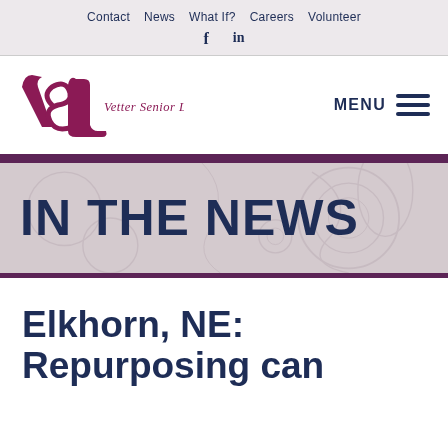Contact  News  What If?  Careers  Volunteer
[Figure (logo): Vetter Senior Living logo with VSL monogram and social media icons (f, in)]
[Figure (logo): Vetter Senior Living wordmark with MENU hamburger icon]
IN THE NEWS
Elkhorn, NE: Repurposing can